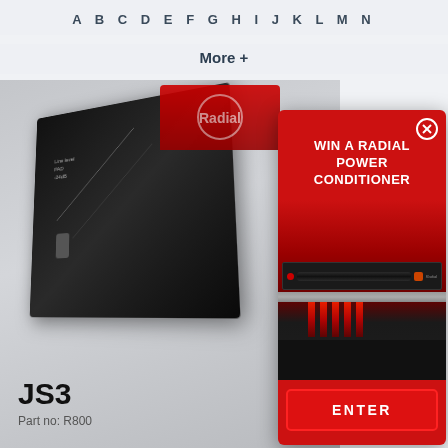A B C D E F G H I J K L M N
More +
[Figure (photo): Photo of a Radial audio DI box product (JS3), dark metal box shown at an angle on a grey background]
JS3
Part no: R800
[Figure (infographic): Red promotional popup overlay showing 'WIN A RADIAL POWER CONDITIONER' text with an image of a Radial power conditioner rack unit glowing red, and an ENTER button at the bottom. A close (X) button is in the top right corner.]